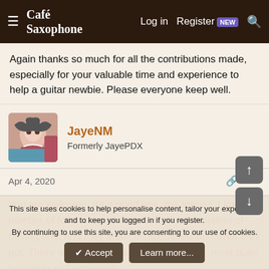Café Saxophone | Log in | Register | NEW
Again thanks so much for all the contributions made, especially for your valuable time and experience to help a guitar newbie. Please everyone keep well.
JayeNM
Formerly JayePDX
Apr 4, 2020  #15
You are welcome. It's a good one, the Ibanez. I know a number of folks who couldn't resist the temptation of buying one, and they aren't disappointed with what they got. There are youtube reviews on it as well, most quite favorable and seemingly
This site uses cookies to help personalise content, tailor your experience and to keep you logged in if you register.
By continuing to use this site, you are consenting to our use of cookies.
✔ Accept  Learn more...